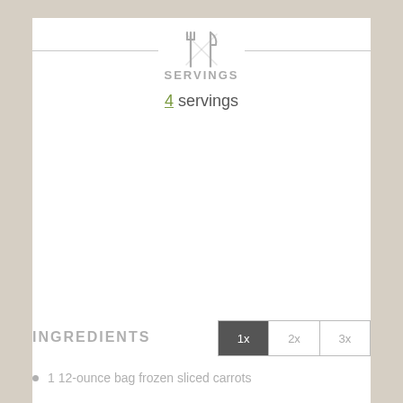[Figure (illustration): Fork and knife crossed icon in gray]
SERVINGS
4 servings
INGREDIENTS
| 1x | 2x | 3x |
| --- | --- | --- |
1 12-ounce bag frozen sliced carrots